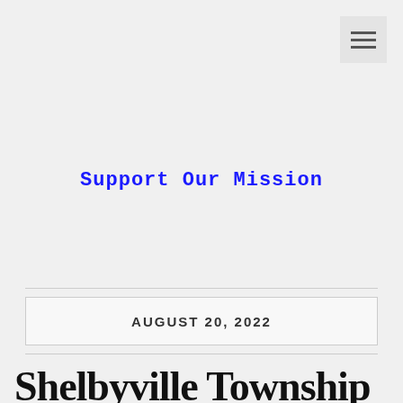[Figure (other): Hamburger menu icon button (three horizontal bars) in top-right corner]
Support Our Mission
AUGUST 20, 2022
Shelbyville Township Attorney